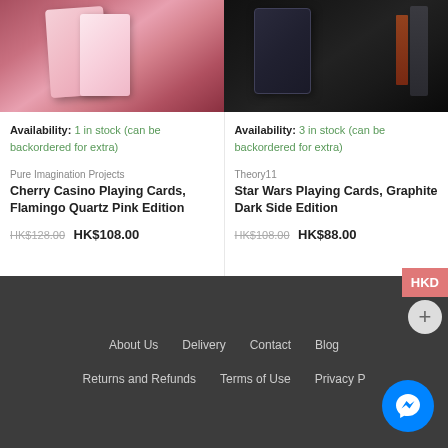[Figure (photo): Pink playing card box (Cherry Casino Flamingo Quartz Pink Edition) on pink background]
[Figure (photo): Dark Star Wars playing card box on dark background with tools]
Availability: 1 in stock (can be backordered for extra)
Availability: 3 in stock (can be backordered for extra)
Pure Imagination Projects
Cherry Casino Playing Cards, Flamingo Quartz Pink Edition
HK$128.00 HK$108.00
Theory11
Star Wars Playing Cards, Graphite Dark Side Edition
HK$108.00 HK$88.00
About Us   Delivery   Contact   Blog   Returns and Refunds   Terms of Use   Privacy P...